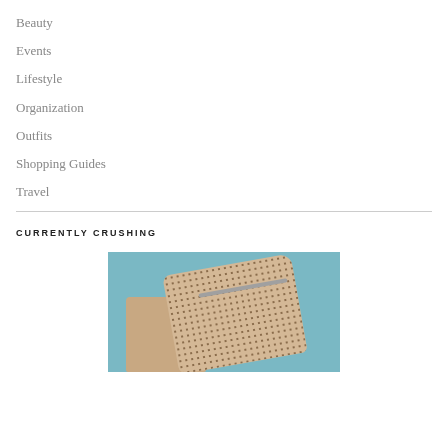Beauty
Events
Lifestyle
Organization
Outfits
Shopping Guides
Travel
CURRENTLY CRUSHING
[Figure (photo): Photo of a metallic sequin/patterned cosmetic bag or clutch with a zipper, placed on a light blue background. The bag appears rose gold/champagne colored with a dark dot pattern.]